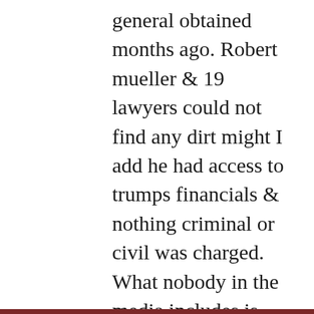general obtained months ago. Robert mueller & 19 lawyers could not find any dirt might I add he had access to trumps financials & nothing criminal or civil was charged. What nobody in the media includes is that the trump family has cooperative and also Don Jr ex wife. This is a fishing expedition. When Letishia James got elected she clearly